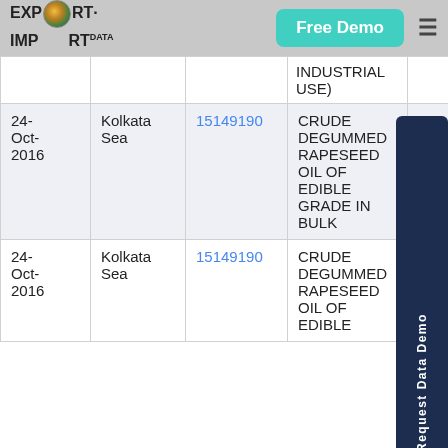EXPORT IMPORT DATA — Free Demo
| Date | Port | HS Code | Description | Qty |
| --- | --- | --- | --- | --- |
|  |  |  | (EDIBLE INDUSTRIAL USE) |  |
| 24-Oct-2016 | Kolkata Sea | 15149190 | CRUDE DEGUMMED RAPESEED OIL OF EDIBLE GRADE IN BULK | .4: |
| 24-Oct-2016 | Kolkata Sea | 15149190 | CRUDE DEGUMMED RAPESEED OIL OF EDIBLE | 1000 |